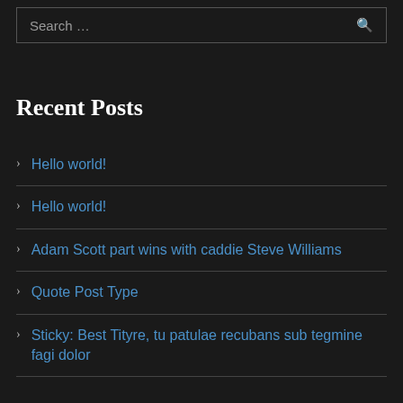Search …
Recent Posts
Hello world!
Hello world!
Adam Scott part wins with caddie Steve Williams
Quote Post Type
Sticky: Best Tityre, tu patulae recubans sub tegmine fagi dolor